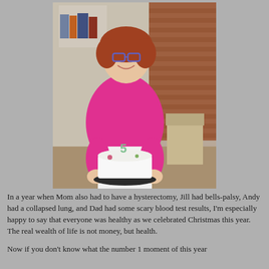[Figure (photo): A smiling woman with glasses and curly auburn hair, wearing a bright pink t-shirt and white shorts, holding a white frosted cake with a candle shaped like the number 5 on top. She is standing indoors in front of a brick wall background.]
In a year when Mom also had to have a hysterectomy, Jill had bells-palsy, Andy had a collapsed lung, and Dad had some scary blood test results, I'm especially happy to say that everyone was healthy as we celebrated Christmas this year. The real wealth of life is not money, but health.
Now if you don't know what the number 1 moment of this year